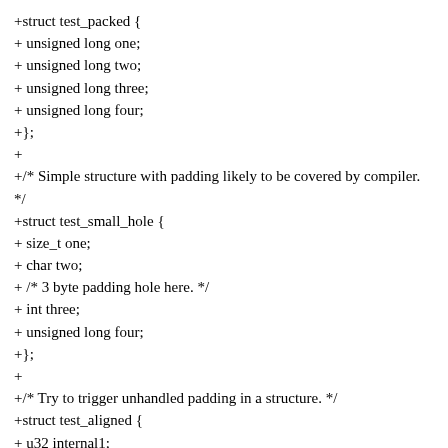+struct test_packed {
+ unsigned long one;
+ unsigned long two;
+ unsigned long three;
+ unsigned long four;
+};
+
+/* Simple structure with padding likely to be covered by compiler. */
+struct test_small_hole {
+ size_t one;
+ char two;
+ /* 3 byte padding hole here. */
+ int three;
+ unsigned long four;
+};
+
+/* Try to trigger unhandled padding in a structure. */
+struct test_aligned {
+ u32 internal1;
+ u64 internal2;
+} __aligned(64);
+
+struct test_big_hole {
+ u8 one;